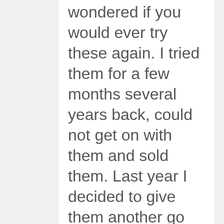wondered if you would ever try these again. I tried them for a few months several years back, could not get on with them and sold them. Last year I decided to give them another go and bought set to put in my spare strat. I decided I liked them for certain things. Enough to keep them.
They do sound great for the neck...